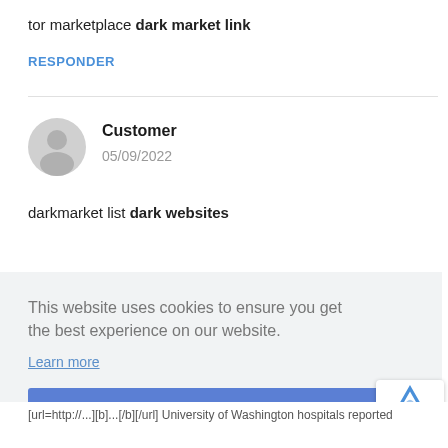tor marketplace dark market link
RESPONDER
Customer
05/09/2022
darkmarket list dark websites
This website uses cookies to ensure you get the best experience on our website.
Learn more
Got it!
[url=http://...][b]...[/b][/url] University of Washington hospitals reported